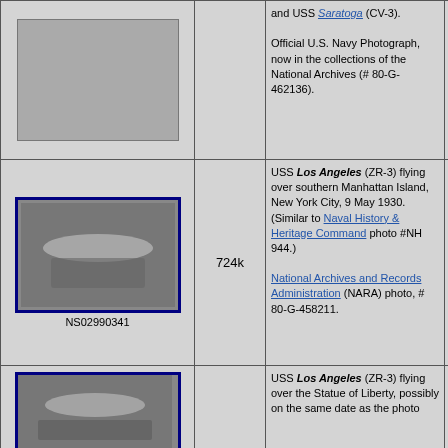| Image | Size | Description | Source |
| --- | --- | --- | --- |
| [image] |  | and USS Saratoga (CV-3). Official U.S. Navy Photograph, now in the collections of the National Archives (# 80-G-462136). |  |
| NS02990341 | 724k | USS Los Angeles (ZR-3) flying over southern Manhattan Island, New York City, 9 May 1930. (Similar to Naval History & Heritage Command photo #NH 944.) National Archives and Records Administration (NARA) photo, # 80-G-458211. | NARA |
| [image] |  | USS Los Angeles (ZR-3) flying over the Statue of Liberty, possibly on the same date as the photo... |  |